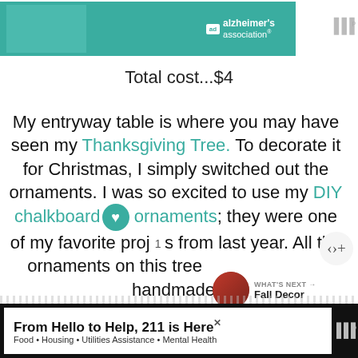[Figure (screenshot): Top banner advertisement for Alzheimer's association on teal background with ad badge, and mute icon on right]
Total cost...$4
My entryway table is where you may have seen my Thanksgiving Tree. To decorate it for Christmas, I simply switched out the ornaments. I was so excited to use my DIY chalkboard ornaments; they were one of my favorite proj... from last year. All the ornaments on this tree ... handmade!
[Figure (screenshot): What's Next thumbnail showing Fall Decor]
[Figure (screenshot): Bottom advertisement: From Hello to Help, 211 is Here — Food · Housing · Utilities Assistance · Mental Health]